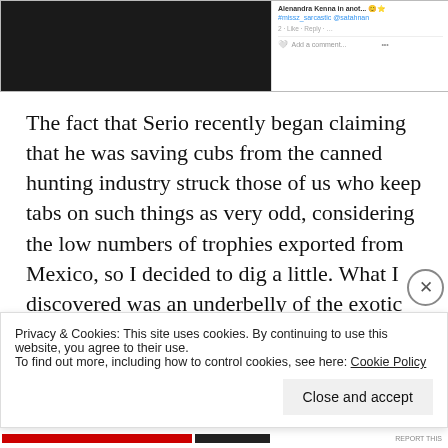[Figure (screenshot): Partial screenshot of an Instagram post showing a dark photo on the left and comments/handles on the right including @missz_sarcastic @satahnan and an 'Add a comment...' field]
The fact that Serio recently began claiming that he was saving cubs from the canned hunting industry struck those of us who keep tabs on such things as very odd, considering the low numbers of trophies exported from Mexico, so I decided to dig a little. What I discovered was an underbelly of the exotic animal trade unlike anything I've experienced so far. As we know from articles like this, that canning history is widely...
Privacy & Cookies: This site uses cookies. By continuing to use this website, you agree to their use.
To find out more, including how to control cookies, see here: Cookie Policy
Close and accept